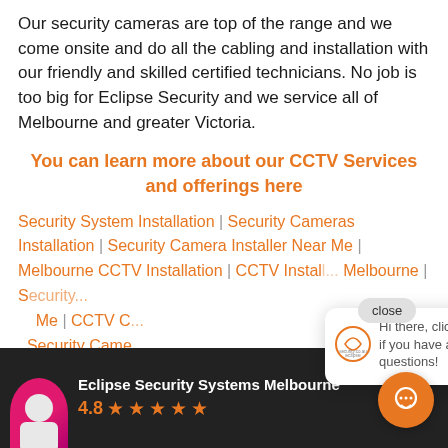Our security cameras are top of the range and we come onsite and do all the cabling and installation with our friendly and skilled certified technicians. No job is too big for Eclipse Security and we service all of Melbourne and greater Victoria.
You can learn more about our CCTV Services and offerings here
Security System Installation | Security Cameras Installation | Security Camera Installer Near Me | Melbourne CCTV Installation | CCTV Installation Melbourne | S... Me | CCTV C... Security Came...
[Figure (screenshot): Chat popup overlay with Eclipse Security logo, close button, and message: Hi there, click here if you have any questions!]
[Figure (screenshot): Bottom dark bar showing Eclipse Security Systems Melbourne with 4.8 star rating and pink avatar, plus orange chat bubble button]